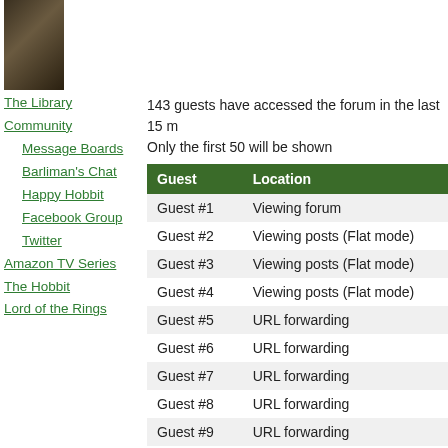[Figure (photo): Dark image of an animal (appears to be a goat or ram) in the top-left sidebar]
The Library
Community
Message Boards
Barliman's Chat
Happy Hobbit
Facebook Group
Twitter
Amazon TV Series
The Hobbit
Lord of the Rings
143 guests have accessed the forum in the last 15 m
Only the first 50 will be shown
| Guest | Location |
| --- | --- |
| Guest #1 | Viewing forum |
| Guest #2 | Viewing posts (Flat mode) |
| Guest #3 | Viewing posts (Flat mode) |
| Guest #4 | Viewing posts (Flat mode) |
| Guest #5 | URL forwarding |
| Guest #6 | URL forwarding |
| Guest #7 | URL forwarding |
| Guest #8 | URL forwarding |
| Guest #9 | URL forwarding |
| Guest #10 | URL forwarding |
| Guest #11 | URL forwarding |
| Guest #12 | URL forwarding |
| Guest #13 | URL forwarding |
| Guest #14 | URL forwarding |